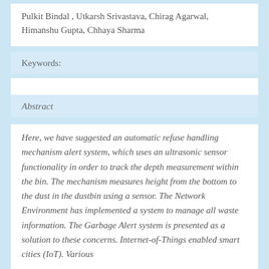Pulkit Bindal , Utkarsh Srivastava, Chirag Agarwal, Himanshu Gupta, Chhaya Sharma
Keywords:
Abstract
Here, we have suggested an automatic refuse handling mechanism alert system, which uses an ultrasonic sensor functionality in order to track the depth measurement within the bin. The mechanism measures height from the bottom to the dust in the dustbin using a sensor. The Network Environment has implemented a system to manage all waste information. The Garbage Alert system is presented as a solution to these concerns. Internet-of-Things enabled smart cities (IoT). Various